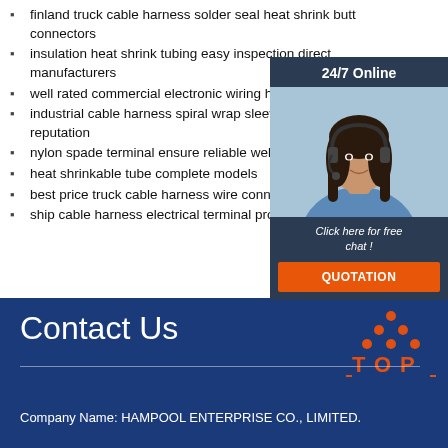finland truck cable harness solder seal heat shrink butt connectors
insulation heat shrink tubing easy inspection direct manufacturers
well rated commercial electronic wiring harness with tape
industrial cable harness spiral wrap sleeve good customer reputation
nylon spade terminal ensure reliable welding f
heat shrinkable tube complete models
best price truck cable harness wire connector
ship cable harness electrical terminal protect w connector
[Figure (photo): Customer service chat widget with photo of woman wearing headset, 24/7 Online banner, 'Click here for free chat!' text, and QUOTATION button]
Contact Us
[Figure (logo): TOP logo with orange dots arranged in triangle shape]
Company Name: HAMPOOL ENTERPRISE CO., LIMITED.